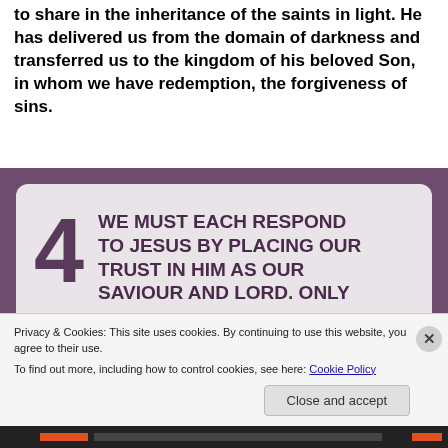to share in the inheritance of the saints in light. He has delivered us from the domain of darkness and transferred us to the kingdom of his beloved Son, in whom we have redemption, the forgiveness of sins.
[Figure (photo): A sign with the number 4 and bold purple text reading: WE MUST EACH RESPOND TO JESUS BY PLACING OUR TRUST IN HIM AS OUR SAVIOUR AND LORD. ONLY — on a light gray background with a purple/mauve border.]
Privacy & Cookies: This site uses cookies. By continuing to use this website, you agree to their use.
To find out more, including how to control cookies, see here: Cookie Policy